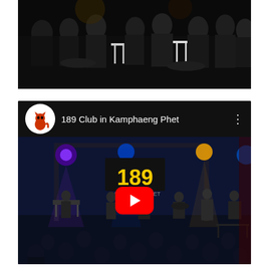[Figure (photo): Dark nightclub scene with crowd of people seated at tables, dark background with some overhead lighting]
[Figure (screenshot): YouTube video thumbnail for '189 Club in Kamphaeng Phet' showing a live band performing on a lit stage with '189' sign, audience watching, red YouTube play button overlay, and channel icon (red cat logo) in top left]